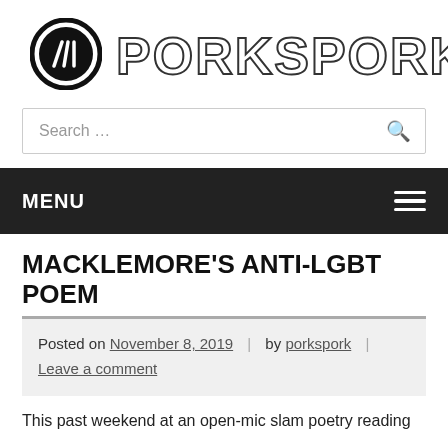[Figure (logo): Porkspork website logo: a circular icon with fork/spoon and the text PORKSPORK in outlined block letters]
Search …
MENU
MACKLEMORE'S ANTI-LGBT POEM
Posted on November 8, 2019 | by porkspork | Leave a comment
This past weekend at an open-mic slam poetry reading